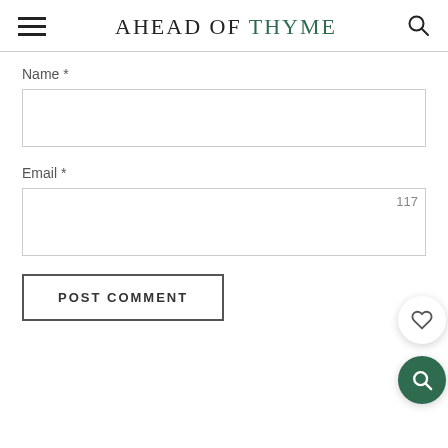AHEAD OF THYME
Name *
Email *
POST COMMENT